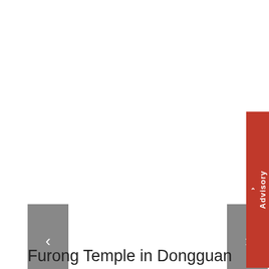[Figure (screenshot): Web page screenshot showing a photo gallery viewer for Furong Temple in Dongguan. The main content area is white/empty (image not loaded). On the right edge, a red vertical advisory tab with a chevron icon and the text Advisory. On the left side, a gray navigation arrow button pointing left. On the right side, a gray navigation arrow button pointing right.]
Furong Temple in Dongguan